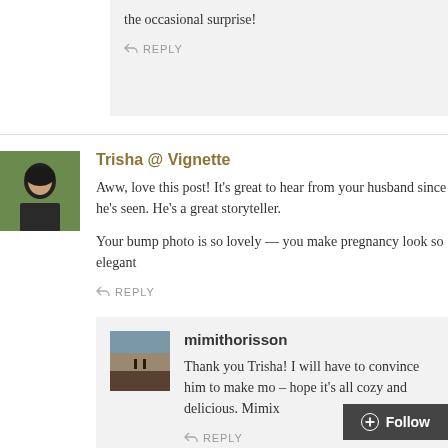the occasional surprise!
REPLY
Trisha @ Vignette
Aww, love this post! It's great to hear from your husband since he's seen. He's a great storyteller.

Your bump photo is so lovely — you make pregnancy look so elegant
REPLY
mimithorisson
Thank you Trisha! I will have to convince him to make mo – hope it's all cozy and delicious. Mimix
REPLY